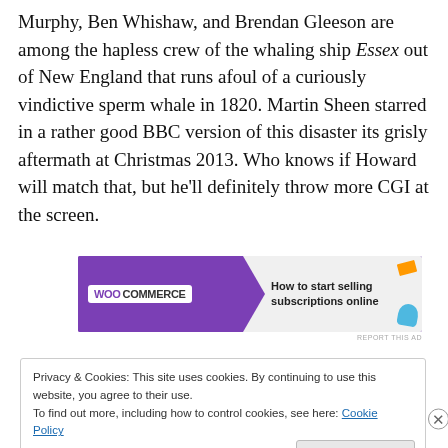Murphy, Ben Whishaw, and Brendan Gleeson are among the hapless crew of the whaling ship Essex out of New England that runs afoul of a curiously vindictive sperm whale in 1820. Martin Sheen starred in a rather good BBC version of this disaster its grisly aftermath at Christmas 2013. Who knows if Howard will match that, but he’ll definitely throw more CGI at the screen.
[Figure (other): WooCommerce advertisement banner: purple left side with WooCommerce logo, right side with text 'How to start selling subscriptions online' with orange and blue accent shapes]
Privacy & Cookies: This site uses cookies. By continuing to use this website, you agree to their use.
To find out more, including how to control cookies, see here: Cookie Policy
Close and accept